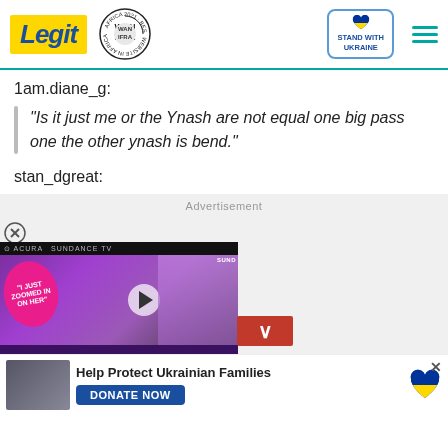Legit | WAN-IFRA 2021 Best News Website in Africa | Stand With Ukraine
1am.diane_g:
"Is it just me or the Ynash are not equal one big pass one the other ynash is bend."
stan_dgreat:
[Figure (screenshot): Advertisement area with a video player showing a Sundance TV clip with text 'I JUST ZOOMED IN ON HER' overlaid on a pink oval. A minimize button with a down chevron is shown. Below is a donate banner: 'Help Protect Ukrainian Families' with a DONATE NOW button and Ukrainian flag heart icon.]